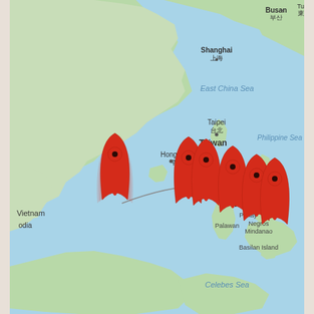[Figure (map): Google Maps view of East/Southeast Asia showing the South China Sea region, with countries including China, Taiwan, Hong Kong, Vietnam, Philippines, and parts of Malaysia/Borneo. Multiple red map pin markers are clustered in an arc pattern over the South China Sea north of the Philippines, connected by a gray line. City labels include Shanghai/上海, Taipei/台北, Busan/부산, Hong Kong/香港. Sea labels: East China Sea, Philippine Sea, Celebes Sea. Island labels: Panay, Palawan, Negros, Mindanao, Basilan Island.]